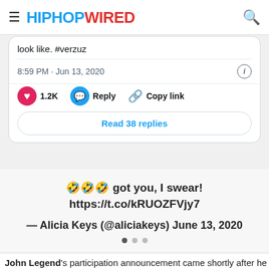HIPHOPWIRED
look like. #verzuz
8:59 PM · Jun 13, 2020
1.2K   Reply   Copy link
Read 38 replies
🤣🤣🤣 got you, I swear! https://t.co/kRUOZFVjy7
— Alicia Keys (@aliciakeys) June 13, 2020
John Legend's participation announcement came shortly after he took